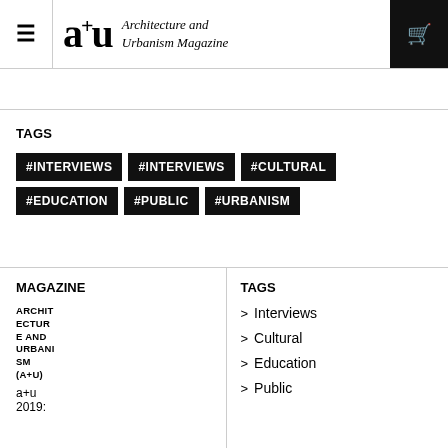a+u Architecture and Urbanism Magazine
TAGS
#INTERVIEWS
#INTERVIEWS
#CULTURAL
#EDUCATION
#PUBLIC
#URBANISM
MAGAZINE
ARCHITECTURE AND URBANISM (A+U)
a+u
2019:
TAGS
> Interviews
> Cultural
> Education
> Public